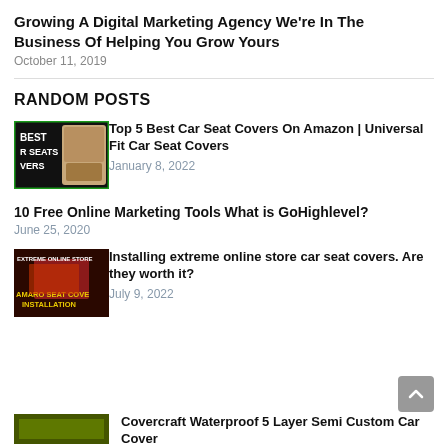Growing A Digital Marketing Agency We’re In The Business Of Helping You Grow Yours
October 11, 2019
RANDOM POSTS
[Figure (photo): Thumbnail image for car seat covers article showing car seat with text BEST R SEATS VERS on dark background]
Top 5 Best Car Seat Covers On Amazon | Universal Fit Car Seat Covers
January 8, 2022
10 Free Online Marketing Tools What is GoHighlevel?
June 25, 2020
[Figure (photo): Thumbnail image showing EXTREME ONLINE STORE car seat cover installation with red seat and text AMARO SEAT COVE INSTALLATION in yellow]
Installing extreme online store car seat covers. Are they worth it?
July 9, 2022
[Figure (photo): Partial thumbnail image at bottom of page]
Covercraft Waterproof 5 Layer Semi Custom Car Cover